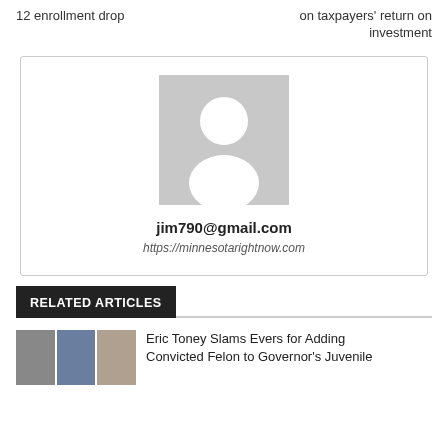12 enrollment drop
on taxpayers' return on investment
[Figure (photo): Gray placeholder avatar/profile image with white silhouette of a person]
jim790@gmail.com
https://minnesotarightnow.com
RELATED ARTICLES
[Figure (photo): Three thumbnail photos of people side by side]
Eric Toney Slams Evers for Adding Convicted Felon to Governor's Juvenile